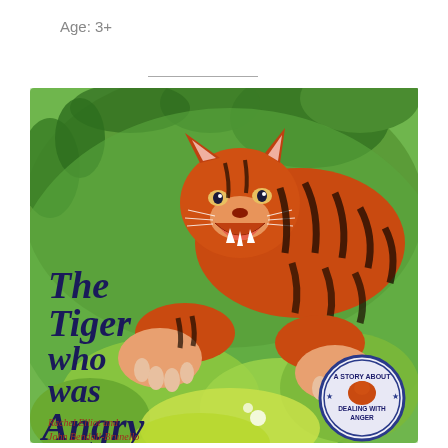Age: 3+
[Figure (illustration): Book cover of 'The Tiger who was Angry' by Rachel Elliot and John Bendall-Brunello. Shows an illustrated tiger cub crouching aggressively in a jungle setting with green foliage. Title text in dark navy blue reads 'The Tiger who was Angry'. A badge in the lower right reads 'A Story About Dealing With Anger'. Author names at bottom left in red/brown text.]